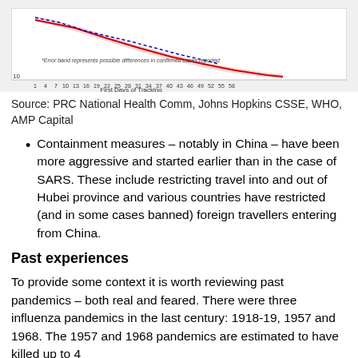[Figure (continuous-plot): Partial view of a line chart showing confirmed cases over first days of tracking, with error band. X-axis labeled 'First Days of Tracking' with values 1 to 58. Y-axis shows value 10. Note: '*Error band represents possible differences in confirmed cases reported']
Source: PRC National Health Comm, Johns Hopkins CSSE, WHO, AMP Capital
Containment measures – notably in China – have been more aggressive and started earlier than in the case of SARS. These include restricting travel into and out of Hubei province and various countries have restricted (and in some cases banned) foreign travellers entering from China.
Past experiences
To provide some context it is worth reviewing past pandemics – both real and feared. There were three influenza pandemics in the last century: 1918-19, 1957 and 1968. The 1957 and 1968 pandemics are estimated to have killed up to 4